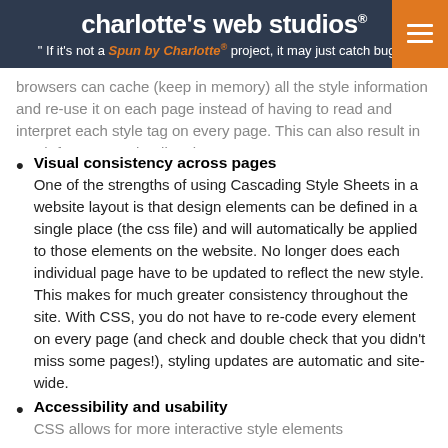charlotte's web studios® "If it's not a Spun by Charlotte® project, it may just catch bugs."
browsers can cache (keep in memory) all the style information and re-use it on each page instead of having to read and interpret each style tag on every page. This can also result in much faster page loading times!
Visual consistency across pages
One of the strengths of using Cascading Style Sheets in a website layout is that design elements can be defined in a single place (the css file) and will automatically be applied to those elements on the website. No longer does each individual page have to be updated to reflect the new style. This makes for much greater consistency throughout the site. With CSS, you do not have to re-code every element on every page (and check and double check that you didn't miss some pages!), styling updates are automatic and site-wide.
Accessibility and usability
CSS allows for more interactive style elements